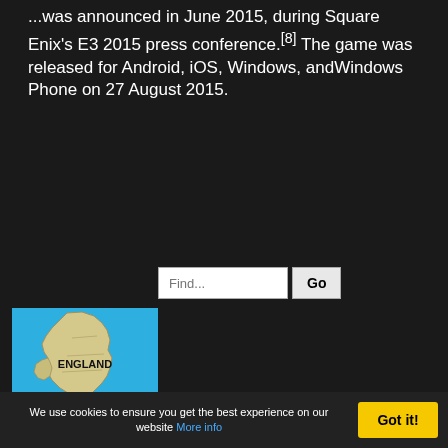...was announced in June 2015, during Square Enix's E3 2015 press conference.[8] The game was released for Android, iOS, Windows, andWindows Phone on 27 August 2015.
[Figure (other): Search box with 'Find...' placeholder and 'Go' button]
[Figure (map): Map of England labeled 'ENGLAND' with text 'CLICK FOR MAP' at the bottom, on a blue background]
We use cookies to ensure you get the best experience on our website More info  Got it!